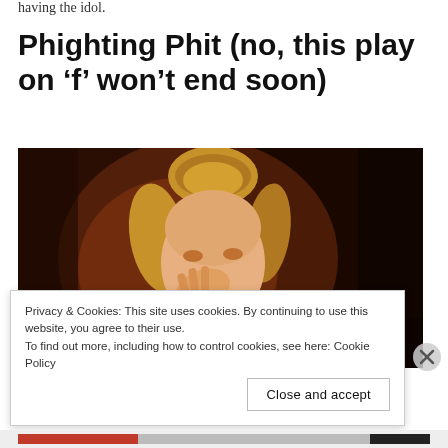having the idol.
Phighting Phit (no, this play on ‘f’ won’t end soon)
[Figure (photo): Woman with hair in a bun, hand raised to face, in dim warm-lit setting]
Privacy & Cookies: This site uses cookies. By continuing to use this website, you agree to their use.
To find out more, including how to control cookies, see here: Cookie Policy
Close and accept